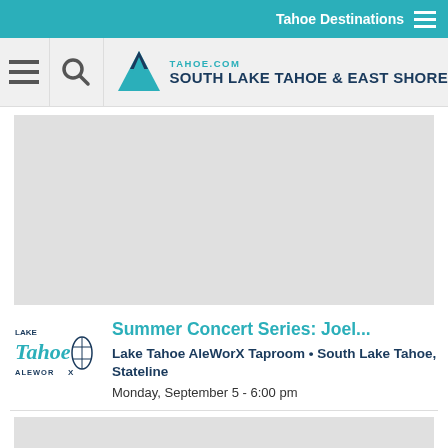Tahoe Destinations
[Figure (logo): TAHOE.COM South Lake Tahoe & East Shore navigation header with mountain logo, hamburger menu icon, and search icon]
[Figure (photo): Gray placeholder advertisement image]
Summer Concert Series: Joel...
Lake Tahoe AleWorX Taproom • South Lake Tahoe, Stateline
Monday, September 5 - 6:00 pm
[Figure (photo): Gray placeholder image at bottom]